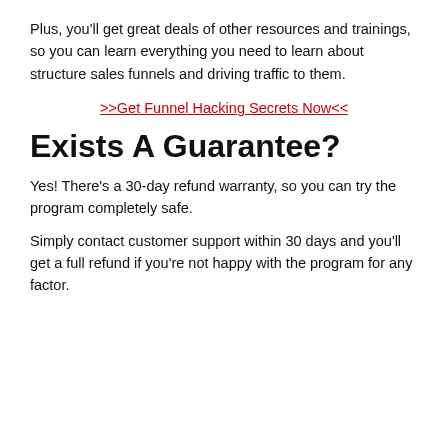Plus, you'll get great deals of other resources and trainings, so you can learn everything you need to learn about structure sales funnels and driving traffic to them.
>>Get Funnel Hacking Secrets Now<<
Exists A Guarantee?
Yes! There's a 30-day refund warranty, so you can try the program completely safe.
Simply contact customer support within 30 days and you'll get a full refund if you're not happy with the program for any factor.